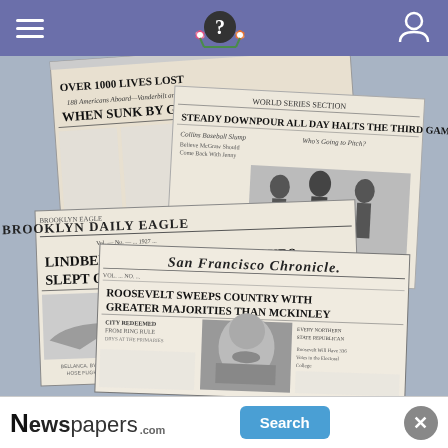App header with hamburger menu, question mark logo, and user icon
[Figure (photo): Collage of historical newspaper front pages including: 'OVER 1000 LIVES LOST WHEN SUNK BY GERMAN SUBMARINE', 'STEADY DOWNPOUR ALL DAY HALTS THE THIRD GAME' (World Series section), 'BROOKLYN DAILY EAGLE - LINDBERGH AT PARIS IN 33½ HOURS; SLEPT ON WAY; RAN THROUGH STORM', and 'San Francisco Chronicle - ROOSEVELT SWEEPS COUNTRY WITH GREATER MAJORITIES THAN MCKINLEY'. Background is gray/blue.]
[Figure (logo): Newspapers.com logo with Search button and close (x) button in a white banner ad at the bottom of the screen]